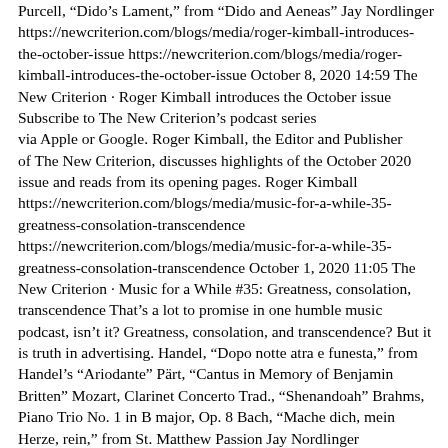Purcell, “Dido’s Lament,” from “Dido and Aeneas” Jay Nordlinger https://newcriterion.com/blogs/media/roger-kimball-introduces-the-october-issue https://newcriterion.com/blogs/media/roger-kimball-introduces-the-october-issue October 8, 2020 14:59 The New Criterion · Roger Kimball introduces the October issue Subscribe to The New Criterion’s podcast series via Apple or Google. Roger Kimball, the Editor and Publisher of The New Criterion, discusses highlights of the October 2020 issue and reads from its opening pages. Roger Kimball https://newcriterion.com/blogs/media/music-for-a-while-35-greatness-consolation-transcendence https://newcriterion.com/blogs/media/music-for-a-while-35-greatness-consolation-transcendence October 1, 2020 11:05 The New Criterion · Music for a While #35: Greatness, consolation, transcendence That’s a lot to promise in one humble music podcast, isn’t it? Greatness, consolation, and transcendence? But it is truth in advertising. Handel, “Dopo notte atra e funesta,” from Handel’s “Ariodante” Pärt, “Cantus in Memory of Benjamin Britten” Mozart, Clarinet Concerto Trad., “Shenandoah” Brahms, Piano Trio No. 1 in B major, Op. 8 Bach, “Mache dich, mein Herze, rein,” from St. Matthew Passion Jay Nordlinger